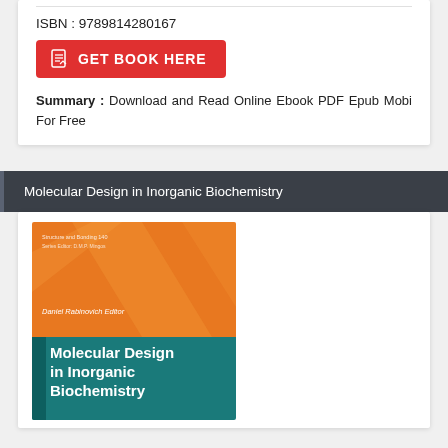Total pages:72 110
ISBN : 9789814280167
GET BOOK HERE
Summary : Download and Read Online Ebook PDF Epub Mobi For Free
Molecular Design in Inorganic Biochemistry
[Figure (photo): Book cover of 'Molecular Design in Inorganic Biochemistry' by Daniel Rabinovich, editor. Orange and teal cover design with diagonal stripes, part of the Structure and Bonding series.]